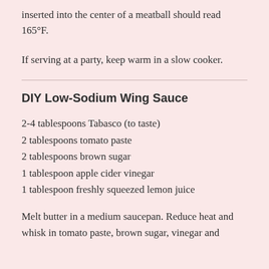inserted into the center of a meatball should read 165°F.
If serving at a party, keep warm in a slow cooker.
DIY Low-Sodium Wing Sauce
2-4 tablespoons Tabasco (to taste)
2 tablespoons tomato paste
2 tablespoons brown sugar
1 tablespoon apple cider vinegar
1 tablespoon freshly squeezed lemon juice
Melt butter in a medium saucepan. Reduce heat and whisk in tomato paste, brown sugar, vinegar and